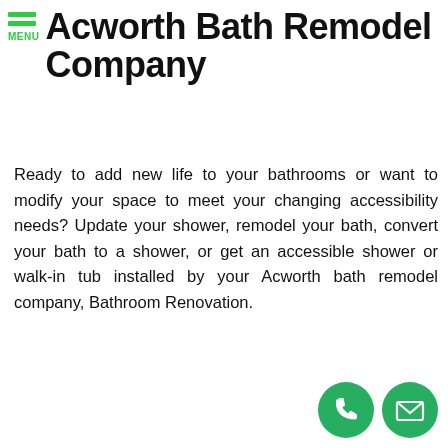Acworth Bath Remodel Company
Ready to add new life to your bathrooms or want to modify your space to meet your changing accessibility needs? Update your shower, remodel your bath, convert your bath to a shower, or get an accessible shower or walk-in tub installed by your Acworth bath remodel company, Bathroom Renovation.
[Figure (infographic): Two green circular icon buttons: a phone handset icon and an envelope/email icon, used as contact call-to-action buttons]